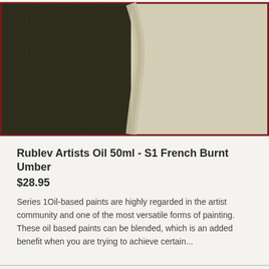[Figure (photo): Close-up photo of artist oil paint swatch showing dark olive/black on left half and light cream/beige on right half applied on textured canvas, with a curved brushstroke dividing the two areas. Has a dark red border.]
Rublev Artists Oil 50ml - S1 French Burnt Umber
$28.95
Series 1Oil-based paints are highly regarded in the artist community and one of the most versatile forms of painting. These oil based paints can be blended, which is an added benefit when you are trying to achieve certain...
[Figure (photo): Close-up photo of artist oil paint swatch showing olive/khaki green-brown on left half and light yellow-cream on right half applied on textured canvas. Has a dark red border.]